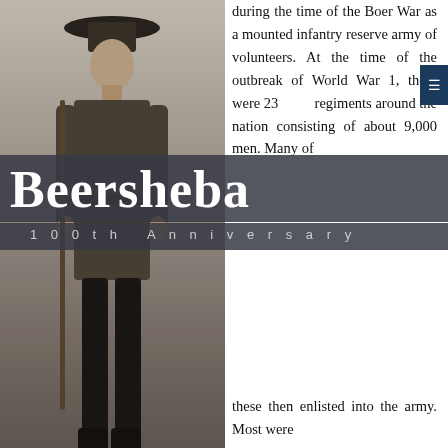[Figure (photo): Black and white photograph of a World War 1 era Australian Light Horseman in uniform holding a rifle, standing full length. Website watermark www.awm.gov.au and reference H06442 visible.]
Beersheba
100th Anniversary
during the time of the Boer War as a mounted infantry reserve army of volunteers. At the time of the outbreak of World War 1, there were 23 regiments around the nation consisting of about 9,000 men. Many of these then enlisted into the army. Most were from the countryside where horses were the main mode of transport and the men were familiar with horses and shooting. Unlike cavalry, that were trained to fight from horseback and equipped with long swords, the Light Horse men
www.awm.gov.au   H06442